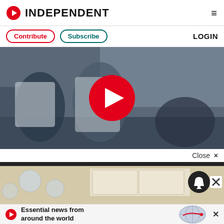INDEPENDENT
Contribute   Subscribe   LOGIN
[Figure (screenshot): Video thumbnail showing people in a room, with a large red play button overlaid in the center]
Close ×
[Figure (photo): Interior kitchen/room photo with glass globe light fixtures, with a dark bell notification icon and white X close button overlaid]
Essential news from around the world